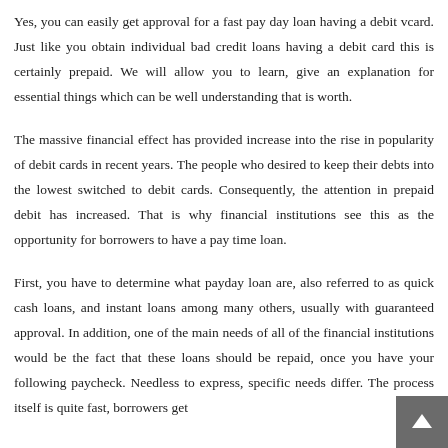Yes, you can easily get approval for a fast pay day loan having a debit vcard. Just like you obtain individual bad credit loans having a debit card this is certainly prepaid. We will allow you to learn, give an explanation for essential things which can be well understanding that is worth.
The massive financial effect has provided increase into the rise in popularity of debit cards in recent years. The people who desired to keep their debts into the lowest switched to debit cards. Consequently, the attention in prepaid debit has increased. That is why financial institutions see this as the opportunity for borrowers to have a pay time loan.
First, you have to determine what payday loan are, also referred to as quick cash loans, and instant loans among many others, usually with guaranteed approval. In addition, one of the main needs of all of the financial institutions would be the fact that these loans should be repaid, once you have your following paycheck. Needless to express, specific needs differ. The process itself is quite fast, borrowers get